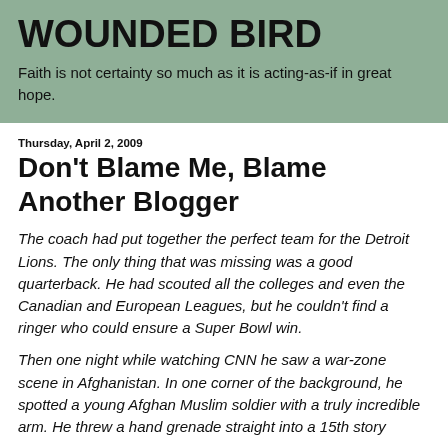WOUNDED BIRD
Faith is not certainty so much as it is acting-as-if in great hope.
Thursday, April 2, 2009
Don't Blame Me, Blame Another Blogger
The coach had put together the perfect team for the Detroit Lions. The only thing that was missing was a good quarterback. He had scouted all the colleges and even the Canadian and European Leagues, but he couldn't find a ringer who could ensure a Super Bowl win.
Then one night while watching CNN he saw a war-zone scene in Afghanistan. In one corner of the background, he spotted a young Afghan Muslim soldier with a truly incredible arm. He threw a hand grenade straight into a 15th story...